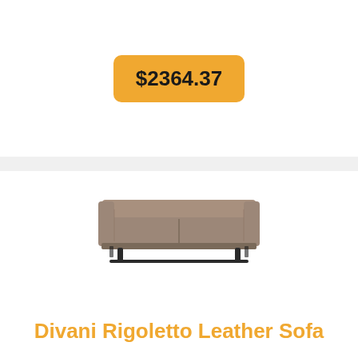$2364.37
[Figure (photo): A taupe/brown leather three-seater sofa with slim dark metal legs and two seat cushions, photographed on a white background.]
Divani Rigoletto Leather Sofa